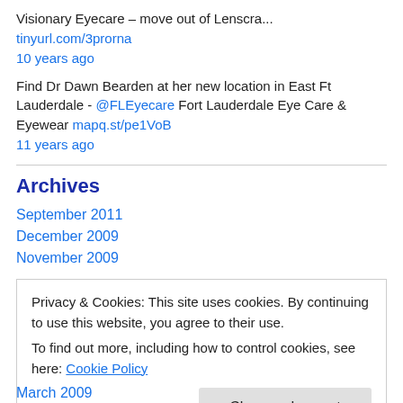Visionary Eyecare – move out of Lenscra... tinyurl.com/3prorna
10 years ago
Find Dr Dawn Bearden at her new location in East Ft Lauderdale - @FLEyecare Fort Lauderdale Eye Care & Eyewear mapq.st/pe1VoB
11 years ago
Archives
September 2011
December 2009
November 2009
Privacy & Cookies: This site uses cookies. By continuing to use this website, you agree to their use.
To find out more, including how to control cookies, see here: Cookie Policy
Close and accept
March 2009